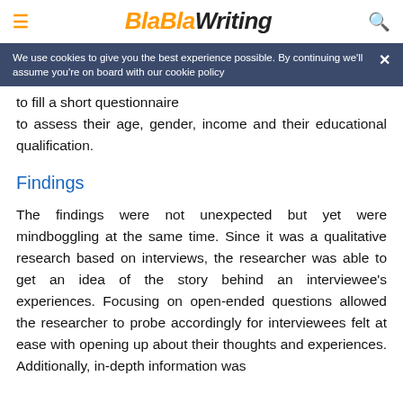BlaBlaWriting
We use cookies to give you the best experience possible. By continuing we'll assume you're on board with our cookie policy
to fill a short questionnaire to assess their age, gender, income and their educational qualification.
Findings
The findings were not unexpected but yet were mindboggling at the same time. Since it was a qualitative research based on interviews, the researcher was able to get an idea of the story behind an interviewee's experiences. Focusing on open-ended questions allowed the researcher to probe accordingly for interviewees felt at ease with opening up about their thoughts and experiences. Additionally, in-depth information was